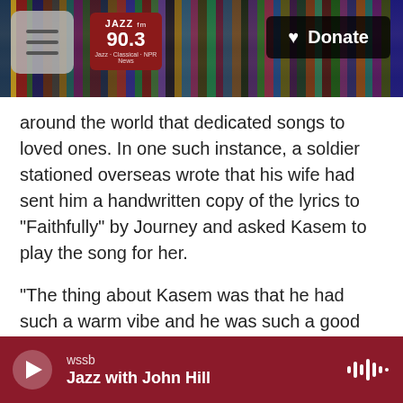[Figure (screenshot): Header with bookshelf background, hamburger menu icon, JAZZ 90.3 logo, and Donate button]
around the world that dedicated songs to loved ones. In one such instance, a soldier stationed overseas wrote that his wife had sent him a handwritten copy of the lyrics to "Faithfully" by Journey and asked Kasem to play the song for her.
"The thing about Kasem was that he had such a warm vibe and he was such a good storyteller that he could read the most mawkish letter and make it very powerfully relatable," Molanphy says. "You find yourself getting choked up listening to these little stories."
[Figure (screenshot): Radio player bar at bottom showing wssb station, Jazz with John Hill program, play button and waveform icon]